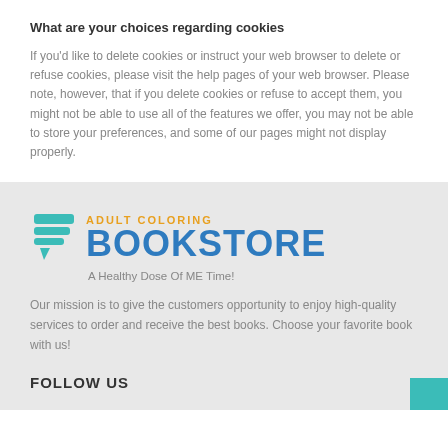What are your choices regarding cookies
If you'd like to delete cookies or instruct your web browser to delete or refuse cookies, please visit the help pages of your web browser. Please note, however, that if you delete cookies or refuse to accept them, you might not be able to use all of the features we offer, you may not be able to store your preferences, and some of our pages might not display properly.
[Figure (logo): Adult Coloring Bookstore logo with teal speech bubble icon, orange 'ADULT COLORING' text, and blue bold 'BOOKSTORE' text with tagline 'A Healthy Dose Of ME Time!']
Our mission is to give the customers opportunity to enjoy high-quality services to order and receive the best books. Choose your favorite book with us!
FOLLOW US